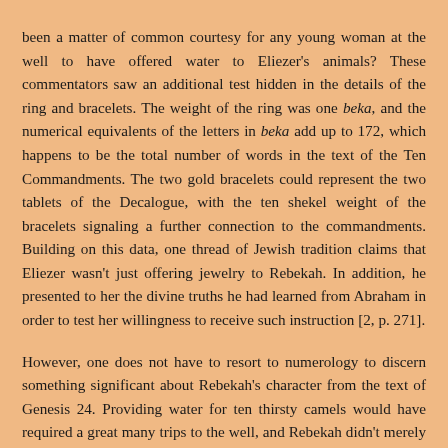been a matter of common courtesy for any young woman at the well to have offered water to Eliezer's animals? These commentators saw an additional test hidden in the details of the ring and bracelets. The weight of the ring was one beka, and the numerical equivalents of the letters in beka add up to 172, which happens to be the total number of words in the text of the Ten Commandments. The two gold bracelets could represent the two tablets of the Decalogue, with the ten shekel weight of the bracelets signaling a further connection to the commandments. Building on this data, one thread of Jewish tradition claims that Eliezer wasn't just offering jewelry to Rebekah. In addition, he presented to her the divine truths he had learned from Abraham in order to test her willingness to receive such instruction [2, p. 271].
However, one does not have to resort to numerology to discern something significant about Rebekah's character from the text of Genesis 24. Providing water for ten thirsty camels would have required a great many trips to the well, and Rebekah didn't merely propose to give the camels a drink. Instead, her offer was to draw water for them ``until they have finished drinking'' (v. 19). In addition, we should notice the eagerness with which she carried out this task. Verse 20 says that she ``quickly'' emptied her jar and ``ran'' back for more water. Waxman [3] points out the parallels between Gen. 24:20 and Gen. 18:6-7, where Abraham ``ran'' and ``hurried'' to provide a meal for his angelic visitors. In her